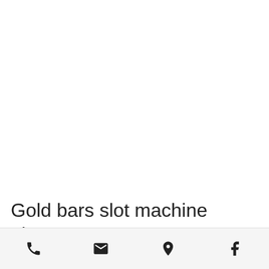Gold bars slot machine pictures
Phone | Email | Location | Facebook